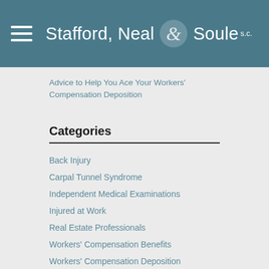Stafford, Neal & Soule s.c.
Advice to Help You Ace Your Workers' Compensation Deposition
Categories
Back Injury
Carpal Tunnel Syndrome
Independent Medical Examinations
Injured at Work
Real Estate Professionals
Workers' Compensation Benefits
Workers' Compensation Deposition
Workers' Compensation Programs
Workers' Compensation Rights